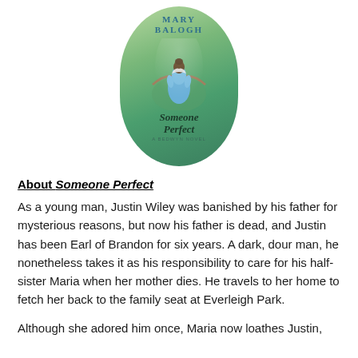[Figure (illustration): Book cover for 'Someone Perfect' by Mary Balogh, showing a woman in a blue Regency-era dress from behind, standing near a bridge in a lush green garden setting. The cover has an oval shape.]
About Someone Perfect
As a young man, Justin Wiley was banished by his father for mysterious reasons, but now his father is dead, and Justin has been Earl of Brandon for six years. A dark, dour man, he nonetheless takes it as his responsibility to care for his half-sister Maria when her mother dies. He travels to her home to fetch her back to the family seat at Everleigh Park.
Although she adored him once, Maria now loathes Justin,